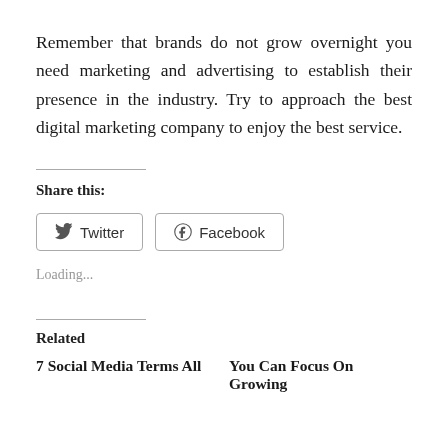Remember that brands do not grow overnight you need marketing and advertising to establish their presence in the industry. Try to approach the best digital marketing company to enjoy the best service.
Share this:
[Figure (screenshot): Two social share buttons: Twitter and Facebook, each with respective icons and rounded rectangle borders]
Loading...
Related
7 Social Media Terms All
You Can Focus On Growing